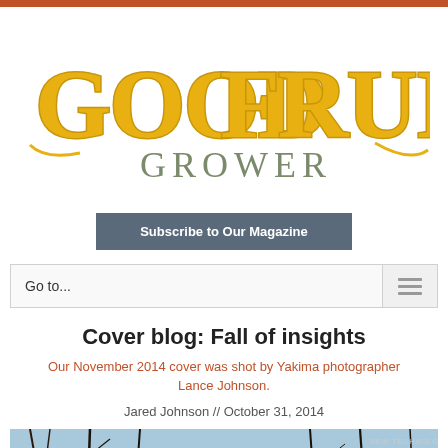[Figure (logo): Good Fruit Grower magazine logo with large yellow/gold stylized text]
Subscribe to Our Magazine
Go to...
Cover blog: Fall of insights
Our November 2014 cover was shot by Yakima photographer Lance Johnson.
Jared Johnson // October 31, 2014
[Figure (photo): Good Fruit Grower magazine November 2014 cover showing the magazine logo over a winter tree branches background with blue sky]